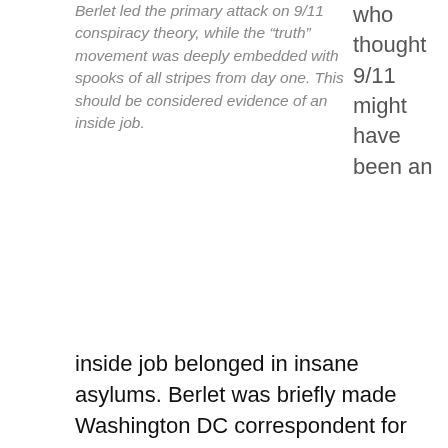Berlet led the primary attack on 9/11 conspiracy theory, while the "truth" movement was deeply embedded with spooks of all stripes from day one. This should be considered evidence of an inside job.
who thought 9/11 might have been an
inside job belonged in insane asylums. Berlet was briefly made Washington DC correspondent for High Times due to his connections to Michael Kennedy. Both were tutored in intel ops by Leonard Boudin, whose uncle had founded the American Communist Party with John Reed. Of course Louis and Reed were both spooks, as was Leonard as well as anyone connected to his “Committee on Public Safety.” In this case,  protecting “public safety” involved setting off hundreds of bombs and terrorizing America with leftwing violence for over a decade. Shades of 1984 newspeak.